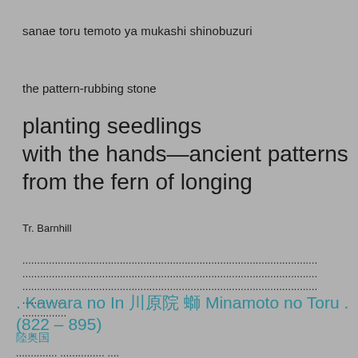sanae toru temoto ya mukashi shinobuzuri
the pattern-rubbing stone
planting seedlings
with the hands—ancient patterns
from the fern of longing
Tr. Barnhill
....................................................................................................
....................................................................................................
....................................................................................................
...............
...............
. Kawara no In 川原院 融 Minamoto no Toru . (822 – 895)
陸奥国
.............. ............... ....